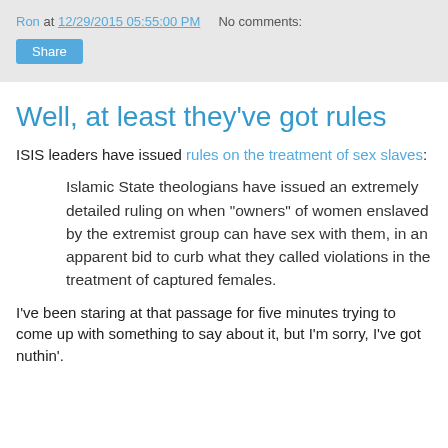Ron at 12/29/2015 05:55:00 PM   No comments:   Share
Well, at least they've got rules
ISIS leaders have issued rules on the treatment of sex slaves:
Islamic State theologians have issued an extremely detailed ruling on when "owners" of women enslaved by the extremist group can have sex with them, in an apparent bid to curb what they called violations in the treatment of captured females.
I've been staring at that passage for five minutes trying to come up with something to say about it, but I'm sorry, I've got nuthin'.